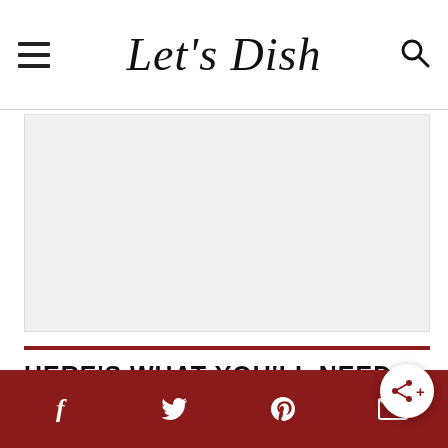Let's Dish
[Figure (other): Advertisement placeholder area with light gray background]
HERE'S WHAT YOU'LL NEED TO MAKE LEFTOVER POTROAST PATTY MELTS
Social share bar with facebook, twitter, pinterest, email, and share icons